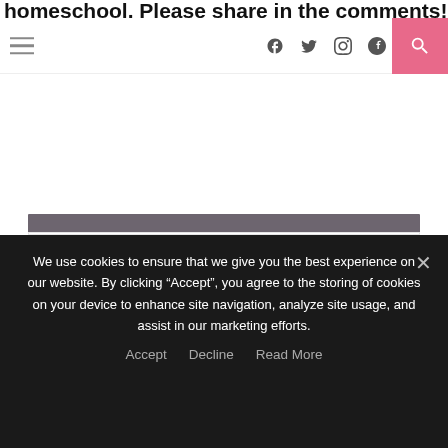homeschool. Please share in the comments!
Navigation bar with hamburger menu, social icons (f, twitter, instagram, pinterest), and search button
Get Your FREE Trial Issue of Book Seeds By Blossom & Root!
[Figure (photo): Book Seeds by Blossom & Root book cover with sunflowers]
This FREE issue, inspired by the book The Three Sunflowers by Janet Lucy, includes two weeks of
We use cookies to ensure that we give you the best experience on our website. By clicking “Accept”, you agree to the storing of cookies on your device to enhance site navigation, analyze site usage, and assist in our marketing efforts.
Accept   Decline   Read More